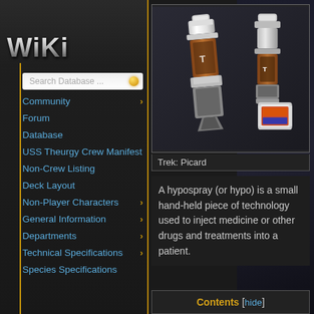WIKI
Search Database ...
Community
Forum
Database
USS Theurgy Crew Manifest
Non-Crew Listing
Deck Layout
Non-Player Characters
General Information
Departments
Technical Specifications
Species Specifications
[Figure (illustration): Two hypospray medical devices shown from different angles - white and silver with orange/copper accents, futuristic Star Trek medical equipment]
Trek: Picard
A hypospray (or hypo) is a small hand-held piece of technology used to inject medicine or other drugs and treatments into a patient.
Contents [hide]